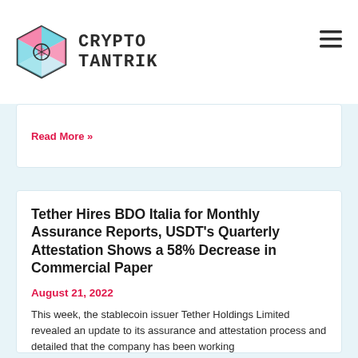CRYPTO TANTRIK
Read More »
Tether Hires BDO Italia for Monthly Assurance Reports, USDT's Quarterly Attestation Shows a 58% Decrease in Commercial Paper
August 21, 2022
This week, the stablecoin issuer Tether Holdings Limited revealed an update to its assurance and attestation process and detailed that the company has been working
Read More »